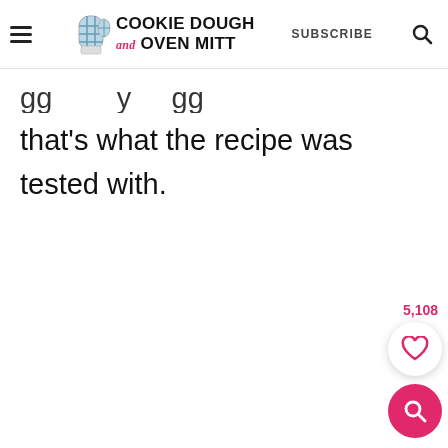Cookie Dough and Oven Mitt — SUBSCRIBE
gg      y   gg
that's what the recipe was tested with.